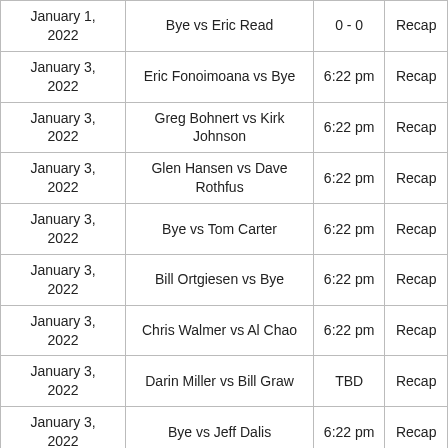| Date | Match | Time |  |
| --- | --- | --- | --- |
| January 1,
2022 | Bye vs Eric Read | 0 - 0 | Recap |
| January 3,
2022 | Eric Fonoimoana vs Bye | 6:22 pm | Recap |
| January 3,
2022 | Greg Bohnert vs Kirk Johnson | 6:22 pm | Recap |
| January 3,
2022 | Glen Hansen vs Dave Rothfus | 6:22 pm | Recap |
| January 3,
2022 | Bye vs Tom Carter | 6:22 pm | Recap |
| January 3,
2022 | Bill Ortgiesen vs Bye | 6:22 pm | Recap |
| January 3,
2022 | Chris Walmer vs Al Chao | 6:22 pm | Recap |
| January 3,
2022 | Darin Miller vs Bill Graw | TBD | Recap |
| January 3,
2022 | Bye vs Jeff Dalis | 6:22 pm | Recap |